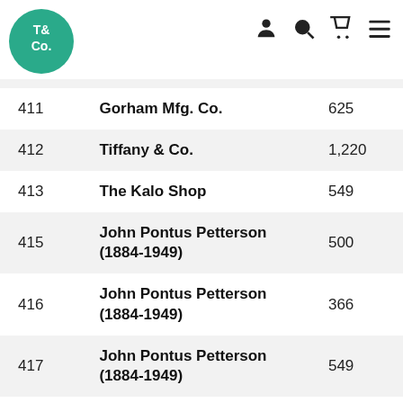T& Co. logo and navigation icons
| Lot | Maker | Price |
| --- | --- | --- |
| 411 | Gorham Mfg. Co. | 625 |
| 412 | Tiffany & Co. | 1,220 |
| 413 | The Kalo Shop | 549 |
| 415 | John Pontus Petterson (1884-1949) | 500 |
| 416 | John Pontus Petterson (1884-1949) | 366 |
| 417 | John Pontus Petterson (1884-1949) | 549 |
| 418 | John Pontus Petterson (1884-1949) | 610 |